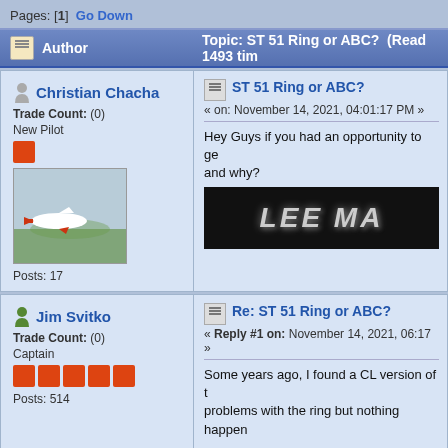Pages: [1]  Go Down
Author  Topic: ST 51 Ring or ABC?  (Read 1493 tim
Christian Chacha
Trade Count: (0)
New Pilot
Posts: 17
ST 51 Ring or ABC?
« on: November 14, 2021, 04:01:17 PM »
Hey Guys if you had an opportunity to ge and why?
Jim Svitko
Trade Count: (0)
Captain
Posts: 514
Re: ST 51 Ring or ABC?
« Reply #1 on: November 14, 2021, 06:17 »
Some years ago, I found a CL version of t problems with the ring but nothing happen
I would not assume that the ring will be ba ringed version will do OK.  In the ringed